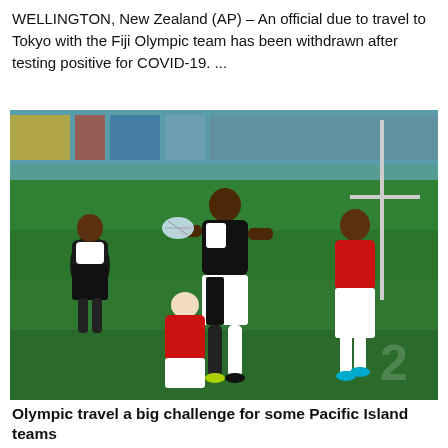WELLINGTON, New Zealand (AP) – An official due to travel to Tokyo with the Fiji Olympic team has been withdrawn after testing positive for COVID-19. ...
[Figure (photo): Rugby sevens action photo showing Fiji players in black-and-white striped jerseys competing against players in red jerseys, one Fiji player running with ball while being tackled, likely from the 2016 Rio Olympics.]
Olympic travel a big challenge for some Pacific Island teams